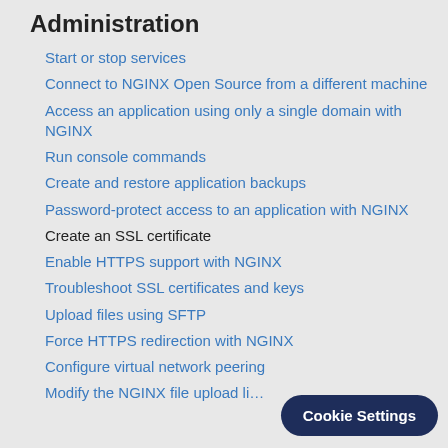Administration
Start or stop services
Connect to NGINX Open Source from a different machine
Access an application using only a single domain with NGINX
Run console commands
Create and restore application backups
Password-protect access to an application with NGINX
Create an SSL certificate
Enable HTTPS support with NGINX
Troubleshoot SSL certificates and keys
Upload files using SFTP
Force HTTPS redirection with NGINX
Configure virtual network peering
Modify the NGINX file upload li…
Cookie Settings